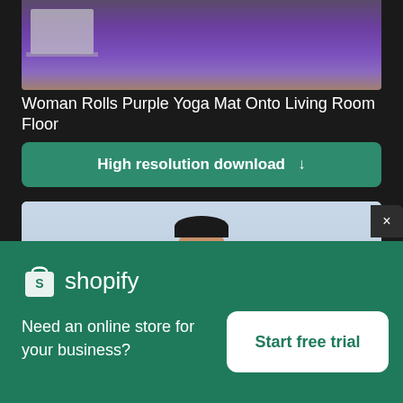[Figure (photo): Partial view of a purple yoga mat and a laptop on a living room floor, dark background at top]
Woman Rolls Purple Yoga Mat Onto Living Room Floor
High resolution download ↓
[Figure (photo): Woman with short dark hair smiling while using a laptop on a dark couch, light background]
[Figure (logo): Shopify logo - white shopping bag icon with S and word shopify in white]
Need an online store for your business?
Start free trial